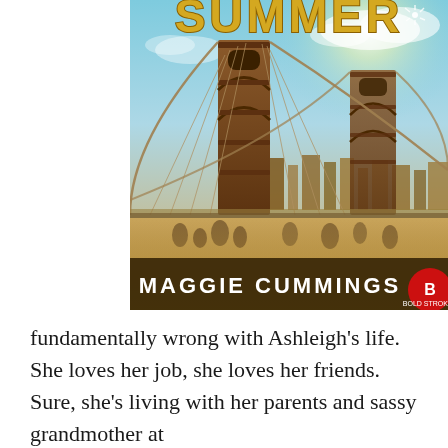[Figure (illustration): Book cover showing Brooklyn Bridge with the title 'SUMMER' in large gold distressed letters at the top, a skyline in the background, people on a boardwalk below, and the author name 'MAGGIE CUMMINGS' in bold white letters at the bottom. A red publisher logo badge is in the bottom right corner.]
fundamentally wrong with Ashleigh's life. She loves her job, she loves her friends. Sure, she's living with her parents and sassy grandmother at